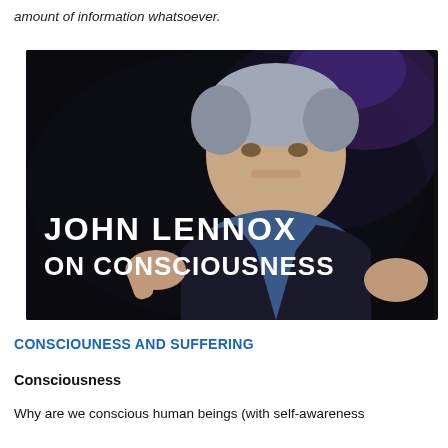amount of information whatsoever.
[Figure (photo): Video thumbnail showing John Lennox, an elderly man in a dark suit gesturing with his hands, on a dark background. White bold text overlay reads: JOHN LENNOX ON CONSCIOUSNESS]
CONSCIOUNESS AND SUFFERING
Consciousness
Why are we conscious human beings (with self-awareness